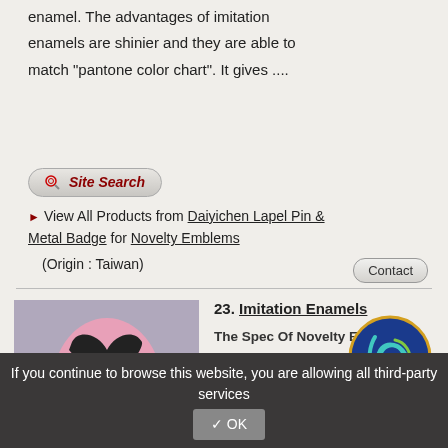enamel. The advantages of imitation enamels are shinier and they are able to match "pantone color chart". It gives ....
[Figure (other): Site Search button with magnifying glass icon]
View All Products from Daiyichen Lapel Pin & Metal Badge for Novelty Emblems (Origin : Taiwan)
[Figure (other): Contact button]
[Figure (photo): Pink and black ribbon lapel pin on purple background]
Select
23. Imitation Enamels

The Spec Of Novelty Emblems : Imitation enamel was invented in 80's. It appears that has brought a revolution for the lapel pin history. The synthetic pigment gives the
[Figure (logo): Daiyichen company logo - blue circle with yellow/green design and DAIYICHEN text]
If you continue to browse this website, you are allowing all third-party services
✓ OK